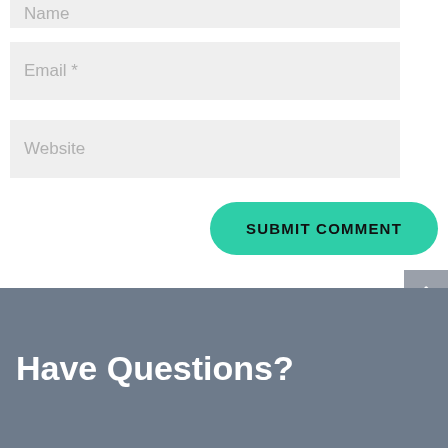Name
Email *
Website
SUBMIT COMMENT
Have Questions?